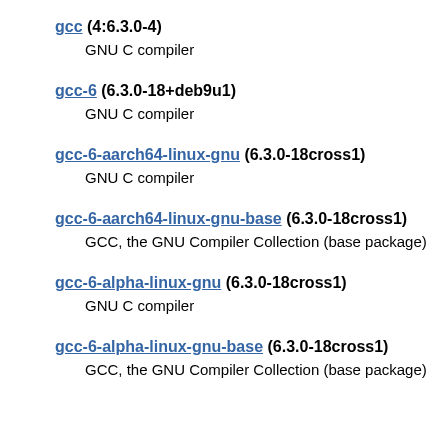gcc (4:6.3.0-4)
GNU C compiler
gcc-6 (6.3.0-18+deb9u1)
GNU C compiler
gcc-6-aarch64-linux-gnu (6.3.0-18cross1)
GNU C compiler
gcc-6-aarch64-linux-gnu-base (6.3.0-18cross1)
GCC, the GNU Compiler Collection (base package)
gcc-6-alpha-linux-gnu (6.3.0-18cross1)
GNU C compiler
gcc-6-alpha-linux-gnu-base (6.3.0-18cross1)
GCC, the GNU Compiler Collection (base package)